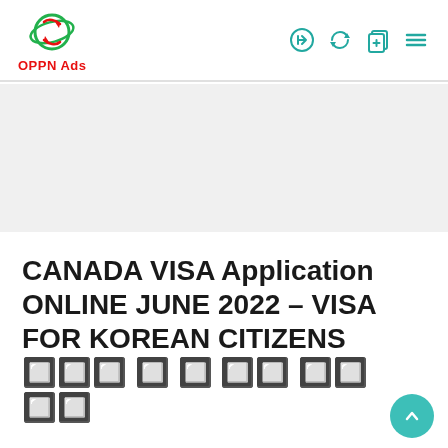OPPN Ads
CANADA VISA Application ONLINE JUNE 2022 – VISA FOR KOREAN CITIZENS 온라인 비자 신청 방법 및 절차